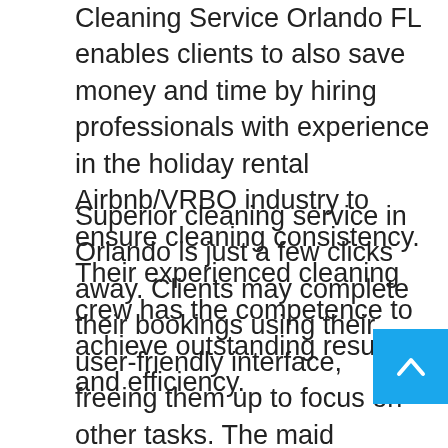Cleaning Service Orlando FL enables clients to also save money and time by hiring professionals with experience in the holiday rental Airbnb/VRBO industry to ensure cleaning consistency. Their experienced cleaning crew has the competence to achieve outstanding results and efficiency.
Superior cleaning service in Orlando is just a few clicks away. Clients may complete their bookings using their user-friendly interface, freeing them up to focus on other tasks. The maid service, also known as standard, regular, or maintenance cleaning, follows a checklist tailored to the client's Orlando residence. The final goal is to clean and disinfect the entire house. Clients can choose when they want their cleaning services to be performed. The staff can plan and execute recurring house cleaning, an initial deep cleaning, with careful...